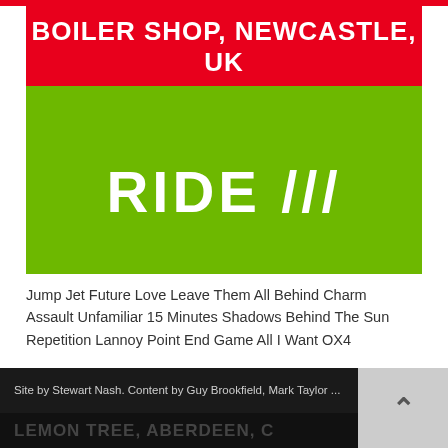[Figure (photo): Event poster for RIDE at Boiler Shop, Newcastle, UK. Red header with white bold text 'BOILER SHOP, NEWCASTLE, UK' above a green rectangle containing white bold text 'RIDE ///']
Jump Jet Future Love Leave Them All Behind Charm Assault Unfamiliar 15 Minutes Shadows Behind The Sun Repetition Lannoy Point End Game All I Want OX4
Site by Stewart Nash. Content by Guy Brookfield, Mark Taylor ...